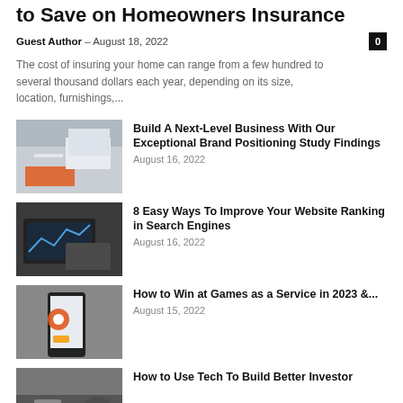Homeowners Insurance Saving Tips: How to Save on Homeowners Insurance
Guest Author - August 18, 2022
The cost of insuring your home can range from a few hundred to several thousand dollars each year, depending on its size, location, furnishings,...
[Figure (photo): Desk with keyboard, notebook, and orange branded materials]
Build A Next-Level Business With Our Exceptional Brand Positioning Study Findings
August 16, 2022
[Figure (photo): Laptop showing analytics dashboard in dark setting]
8 Easy Ways To Improve Your Website Ranking in Search Engines
August 16, 2022
[Figure (photo): Hand holding smartphone with Pokemon Go app]
How to Win at Games as a Service in 2023 &...
August 15, 2022
[Figure (photo): Car interior or investor-related image (partially visible)]
How to Use Tech To Build Better Investor